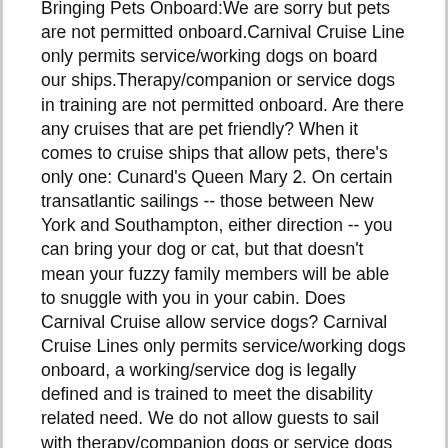Bringing Pets Onboard:We are sorry but pets are not permitted onboard.Carnival Cruise Line only permits service/working dogs on board our ships.Therapy/companion or service dogs in training are not permitted onboard. Are there any cruises that are pet friendly? When it comes to cruise ships that allow pets, there's only one: Cunard's Queen Mary 2. On certain transatlantic sailings -- those between New York and Southampton, either direction -- you can bring your dog or cat, but that doesn't mean your fuzzy family members will be able to snuggle with you in your cabin. Does Carnival Cruise allow service dogs? Carnival Cruise Lines only permits service/working dogs onboard, a working/service dog is legally defined and is trained to meet the disability related need. We do not allow guests to sail with therapy/companion dogs or service dogs in training. Some cruise lines permit them.